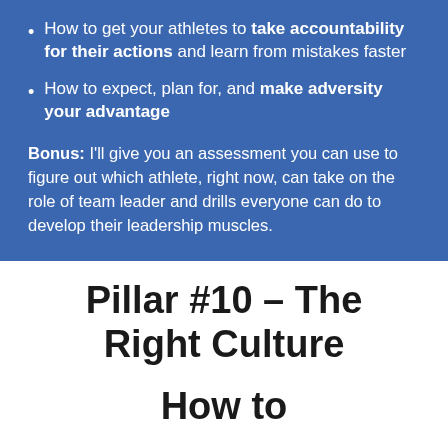How to get your athletes to take accountability for their actions and learn from mistakes faster
How to expect, plan for, and make adversity your advantage
Bonus: I'll give you an assessment you can use to figure out which athlete, right now, can take on the role of team leader and drills everyone can do to develop their leadership muscles.
Pillar #10 – The Right Culture
How to